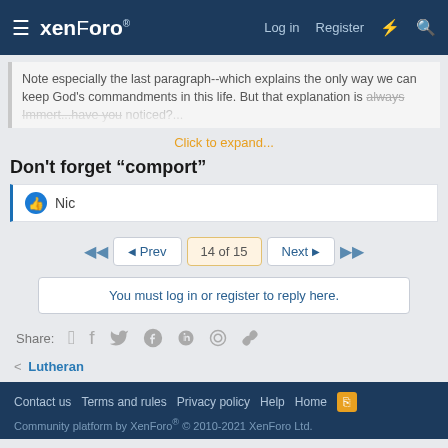XenForo | Log in | Register
Note especially the last paragraph--which explains the only way we can keep God's commandments in this life. But that explanation is always Immert...have you noticed?... Click to expand...
Don’t forget “comport”
Nic
Prev | 14 of 15 | Next
You must log in or register to reply here.
Share:
Lutheran
Contact us | Terms and rules | Privacy policy | Help | Home | Community platform by XenForo® © 2010-2021 XenForo Ltd.